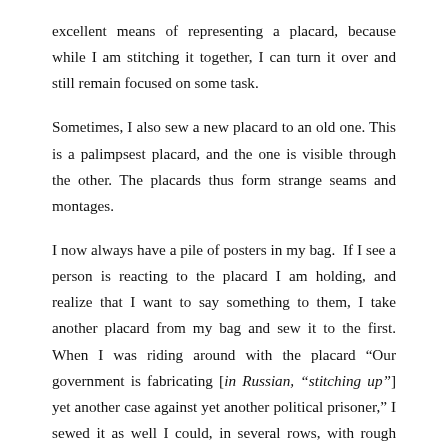excellent means of representing a placard, because while I am stitching it together, I can turn it over and still remain focused on some task.
Sometimes, I also sew a new placard to an old one. This is a palimpsest placard, and the one is visible through the other. The placards thus form strange seams and montages.
I now always have a pile of posters in my bag. If I see a person is reacting to the placard I am holding, and realize that I want to say something to them, I take another placard from my bag and sew it to the first. When I was riding around with the placard “Our government is fabricating [in Russian, “stitching up”] yet another case against yet another political prisoner,” I sewed it as well I could, in several rows, with rough stitches. By the way, I have been stitching the